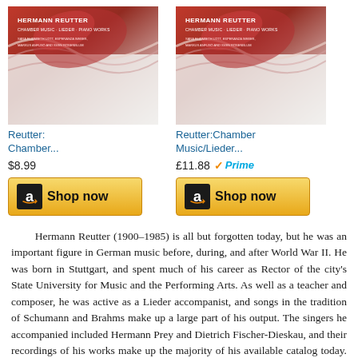[Figure (other): Album cover for Hermann Reutter Chamber Music/Lieder/Piano Works - first product listing]
[Figure (other): Album cover for Hermann Reutter Chamber Music/Lieder/Piano Works - second product listing]
Reutter: Chamber...
$8.99
Reutter:Chamber Music/Lieder...
£11.88 Prime
Hermann Reutter (1900–1985) is all but forgotten today, but he was an important figure in German music before, during, and after World War II. He was born in Stuttgart, and spent much of his career as Rector of the city's State University for Music and the Performing Arts. As well as a teacher and composer, he was active as a Lieder accompanist, and songs in the tradition of Schumann and Brahms make up a large part of his output. The singers he accompanied included Hermann Prey and Dietrich Fischer-Dieskau, and their recordings of his works make up the majority of his available catalog today. But he was prolific in a variety of genres, especially orchestral music and opera, and on the strength of this disc of songs and chamber music, there are